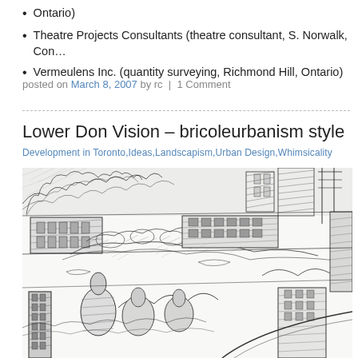Ontario)
Theatre Projects Consultants (theatre consultant, S. Norwalk, Con…
Vermeulens Inc. (quantity surveying, Richmond Hill, Ontario)
posted on March 8, 2007 by rc | 1 Comment
Lower Don Vision – bricoleurbanism style
Development in Toronto,Ideas,Landscapism,Urban Design,Whimsicality
[Figure (illustration): Architectural pencil sketch showing an aerial/perspective view of an urban development plan with buildings, green spaces, roads, and infrastructure along what appears to be a river valley (Lower Don area, Toronto). Dense crosshatching and linework typical of hand-drawn architectural illustration.]